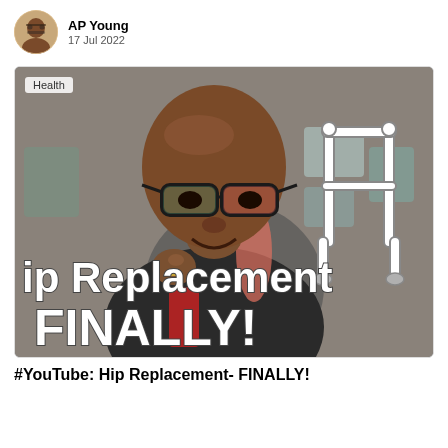AP Young
17 Jul 2022
[Figure (photo): YouTube video thumbnail showing a Black woman with glasses and a shaved head smiling, with a cartoon walker/Zimmer frame graphic overlay and text reading 'ip Replacement FINALLY!' over the image. A 'Health' badge is in the top-left corner.]
#YouTube: Hip Replacement- FINALLY!